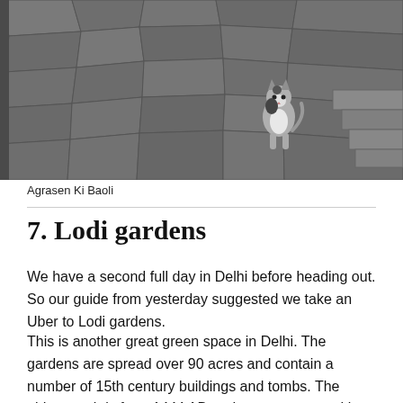[Figure (photo): A cat standing on ancient stone steps at Agrasen Ki Baoli, a historic stepwell in Delhi. The stone is dark grey and irregular, and the cat is black and white.]
Agrasen Ki Baoli
7. Lodi gardens
We have a second full day in Delhi before heading out. So our guide from yesterday suggested we take an Uber to Lodi gardens.
This is another great green space in Delhi. The gardens are spread over 90 acres and contain a number of 15th century buildings and tombs. The oldest tomb is from 1444 AD and was constructed by Ala-uddin Alam Shah. There are few buildings left from this period. They are